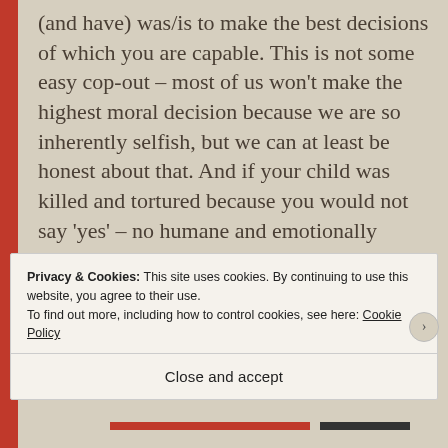(and have) was/is to make the best decisions of which you are capable. This is not some easy cop-out – most of us won't make the highest moral decision because we are so inherently selfish, but we can at least be honest about that. And if your child was killed and tortured because you would not say 'yes' – no humane and emotionally intelligent response could suggest that one must 'not hate' an experience of that sort because it makes you who you are. To say so constitutes a huge abuse of language which is itself an abuse of
Privacy & Cookies: This site uses cookies. By continuing to use this website, you agree to their use.
To find out more, including how to control cookies, see here: Cookie Policy
Close and accept